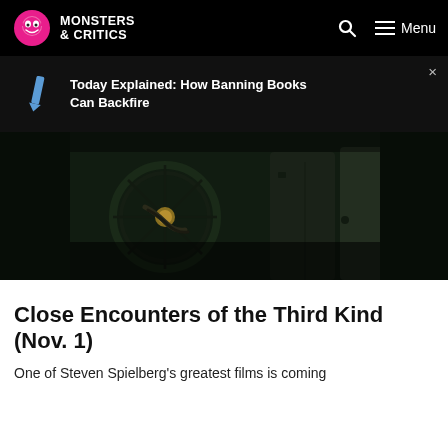MONSTERS & CRITICS — Menu
Today Explained: How Banning Books Can Backfire
[Figure (photo): Dark close-up film still from Close Encounters of the Third Kind showing mechanical/bicycle equipment in dim green-toned lighting with figures in jackets]
Close Encounters of the Third Kind (Nov. 1)
One of Steven Spielberg's greatest films is coming